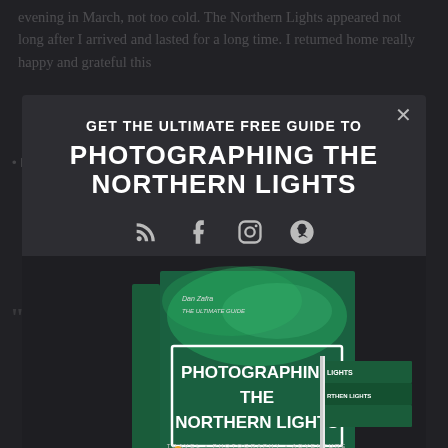evening in March, not too cold. The Northern Lights appeared not long after I arrived and lasted for a long time. I returned home really happy and grateful this
GET THE ULTIMATE FREE GUIDE TO PHOTOGRAPHING THE NORTHERN LIGHTS
[Figure (screenshot): Modal popup overlay on a blog page promoting a free guide book titled 'Photographing the Northern Lights' by Dan Zafra. The modal shows the book cover with a green aurora borealis background, along with social media icons (RSS, Facebook, Instagram, and another). Behind the modal, partially visible article text and a faded heading reading 'SANTA ... WARI' are visible.]
"SANTA                                          WARI"
EXIF